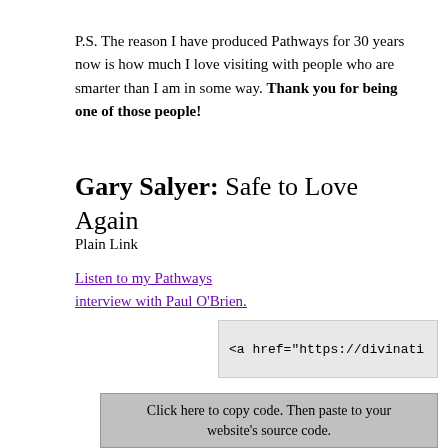P.S. The reason I have produced Pathways for 30 years now is how much I love visiting with people who are smarter than I am in some way. Thank you for being one of those people!
Gary Salyer: Safe to Love Again
Plain Link
Listen to my Pathways interview with Paul O'Brien.
<a href="https://divinati
Click here to copy code. Then paste to your website's source code.